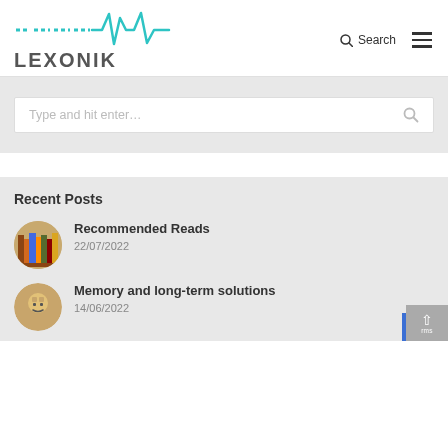[Figure (logo): Lexonik logo with teal waveform graphic above text LEXONIK]
Search
Type and hit enter…
Recent Posts
Recommended Reads
22/07/2022
Memory and long-term solutions
14/06/2022